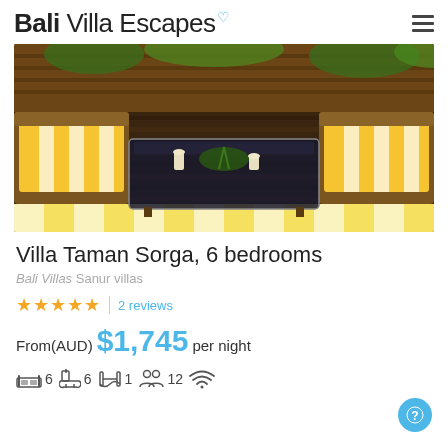Bali Villa Escapes
[Figure (photo): Interior photo of a villa lounge area with rattan furniture, yellow and white striped cushions, a glass-top coffee table on a dark hardwood deck, surrounded by tropical greenery.]
Villa Taman Sorga, 6 bedrooms
Bali Villas Sanur villas
★★★★★ | 2 reviews
From(AUD) $1,745 per night
6 bedrooms, 6 bathrooms, 1 pool, 12 guests, WiFi